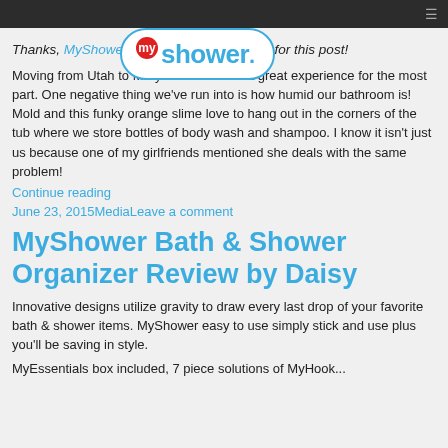[Figure (logo): MyShower logo — oval shape with 'my' in red circle and 'shower.' in blue text]
Thanks, MyShower, for providing a free review for this post!
Moving from Utah to Maryland has been a great experience for the most part. One negative thing we've run into is how humid our bathroom is! Mold and this funky orange slime love to hang out in the corners of the tub where we store bottles of body wash and shampoo. I know it isn't just us because one of my girlfriends mentioned she deals with the same problem!
Continue reading
June 23, 2015MediaLeave a comment
MyShower Bath & Shower Organizer Review by Daisy
Innovative designs utilize gravity to draw every last drop of your favorite bath & shower items. MyShower easy to use simply stick and use plus you'll be saving in style.
MyEssentials box included, 7 piece solutions of MyHook...